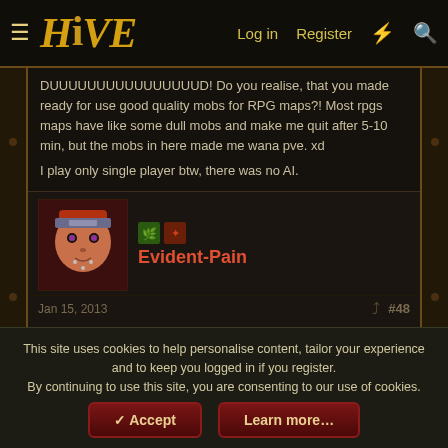HIVE — Log in | Register
DUUUUUUUUUUUUUUUUD! Do you realise, that you made ready for use good quality mobs for RPG maps?! Most rpgs maps have like some dull mobs and make me quit after 5-10 min, but the mobs in here made me wana pve. xd
I play only single player btw, there was no AI.
Evident-Pain
Jan 15, 2013  #48
I played your map, and enjoyed it. It's different from the games I usually play. I believe you should add AI, and more custom abilities. Maybe I could make you some custom abilities aswell. Game straight forward, yet playing with friends was pretty damn fun/funny.
This site uses cookies to help personalise content, tailor your experience and to keep you logged in if you register.
By continuing to use this site, you are consenting to our use of cookies.